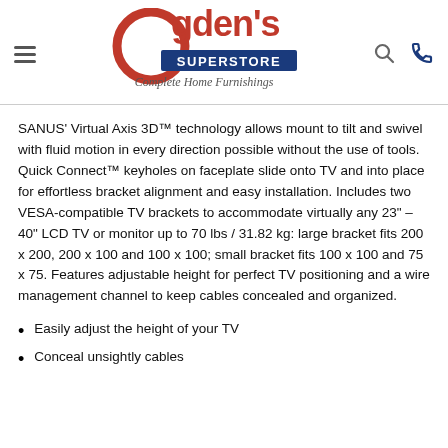[Figure (logo): Ogden's Superstore logo with red text and blue banner reading SUPERSTORE, tagline Complete Home Furnishings]
SANUS' Virtual Axis 3D™ technology allows mount to tilt and swivel with fluid motion in every direction possible without the use of tools. Quick Connect™ keyholes on faceplate slide onto TV and into place for effortless bracket alignment and easy installation. Includes two VESA-compatible TV brackets to accommodate virtually any 23" – 40" LCD TV or monitor up to 70 lbs / 31.82 kg: large bracket fits 200 x 200, 200 x 100 and 100 x 100; small bracket fits 100 x 100 and 75 x 75. Features adjustable height for perfect TV positioning and a wire management channel to keep cables concealed and organized.
Easily adjust the height of your TV
Conceal unsightly cables